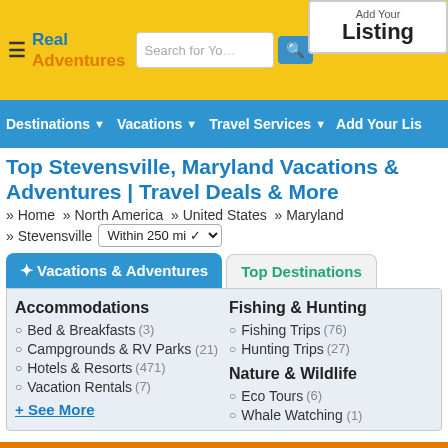Real Adventures | Search for You | Add Your Listing
Destinations | Vacations | Travel Services | Add Your Lis
Top Stevensville, Maryland Vacations & Adventures | Travel Deals & More
» Home » North America » United States » Maryland » Stevensville  Within 250 mi
Vacations & Adventures | Top Destinations
Accommodations
Bed & Breakfasts (3)
Campgrounds & RV Parks (21)
Hotels & Resorts (471)
Vacation Rentals (7)
Fishing & Hunting
Fishing Trips (76)
Hunting Trips (27)
Nature & Wildlife
Eco Tours (6)
Whale Watching (1)
+ See More